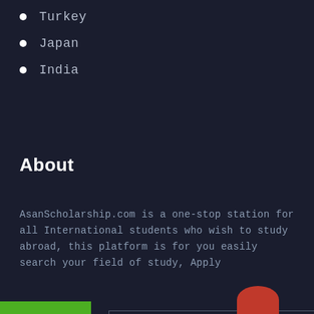Turkey
Japan
India
About
AsanScholarship.com is a one-stop station for all International students who wish to study abroad, this platform is for you easily search your field of study, Apply
[Figure (infographic): Green filter/funnel icon button on green background]
READ MORE